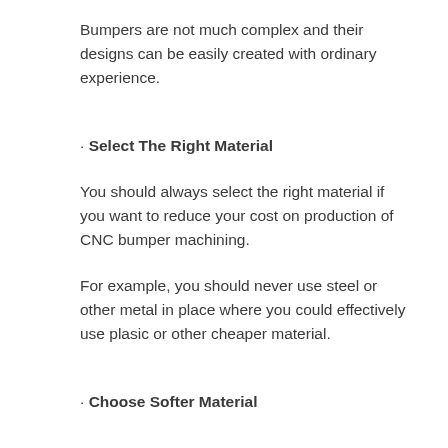Bumpers are not much complex and their designs can be easily created with ordinary experience.
· Select The Right Material
You should always select the right material if you want to reduce your cost on production of CNC bumper machining.
For example, you should never use steel or other metal in place where you could effectively use plasic or other cheaper material.
· Choose Softer Material